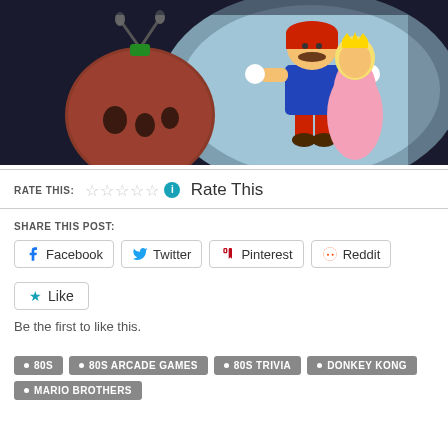[Figure (illustration): Cartoon scene from an 80s animated show showing Mario carrying Princess Peach against a dark blue background, with a red bomb/enemy character in the foreground left.]
RATE THIS: ☆☆☆☆☆ ℹ Rate This
SHARE THIS POST:
Facebook Twitter Pinterest Reddit
Like
Be the first to like this.
80S
80S ARCADE GAMES
80S TRIVIA
DONKEY KONG
MARIO BROTHERS